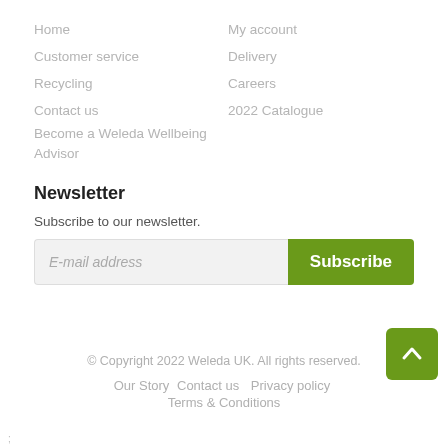Home
Customer service
Recycling
Contact us
Become a Weleda Wellbeing Advisor
My account
Delivery
Careers
2022 Catalogue
Newsletter
Subscribe to our newsletter.
E-mail address
Subscribe
© Copyright 2022 Weleda UK. All rights reserved.
Our Story   Contact us   Privacy policy
Terms & Conditions